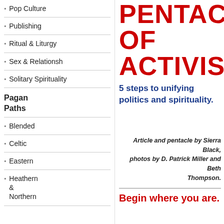Pop Culture
Publishing
Ritual & Liturgy
Sex & Relationships
Solitary Spirituality
Pagan Paths
Blended
Celtic
Eastern
Heathern & Northern
PENTACLE OF ACTIVISM
5 steps to unifying politics and spirituality.
Article and pentacle by Sierra Black, photos by D. Patrick Miller and Beth Thompson.
Begin where you are.
[Figure (photo): Statue of a figure (likely a goddess) in the upper right corner]
[Figure (photo): Magazine covers showing SageWoman publication in the lower right]